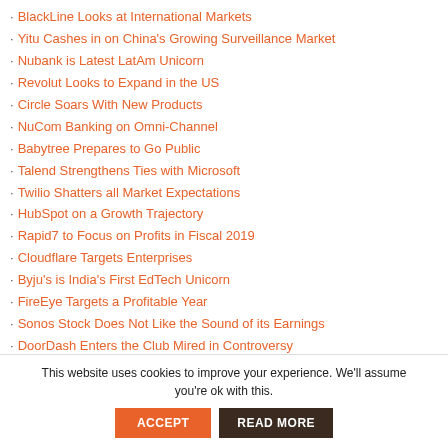BlackLine Looks at International Markets
Yitu Cashes in on China's Growing Surveillance Market
Nubank is Latest LatAm Unicorn
Revolut Looks to Expand in the US
Circle Soars With New Products
NuCom Banking on Omni-Channel
Babytree Prepares to Go Public
Talend Strengthens Ties with Microsoft
Twilio Shatters all Market Expectations
HubSpot on a Growth Trajectory
Rapid7 to Focus on Profits in Fiscal 2019
Cloudflare Targets Enterprises
Byju's is India's First EdTech Unicorn
FireEye Targets a Profitable Year
Sonos Stock Does Not Like the Sound of its Earnings
DoorDash Enters the Club Mired in Controversy
Swiggy Enters the Club with Massive Funding
Should Oracle Buy MongoDB?
Okta Faces Tougher Competition from Cisco
This website uses cookies to improve your experience. We'll assume you're ok with this.
ACCEPT
READ MORE